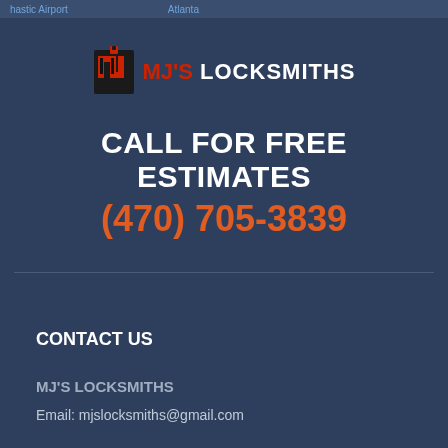hastic Airport   Atlanta
[Figure (logo): MJ's Locksmiths logo with stylized key/lock icon in red and black beside the text MJ'S LOCKSMITHS]
CALL FOR FREE ESTIMATES
(470) 705-3839
CONTACT US
MJ'S LOCKSMITHS
Email: mjslocksmiths@gmail.com